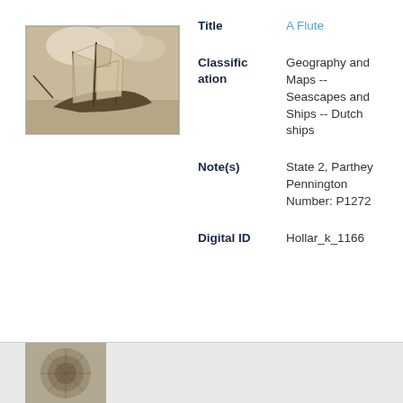[Figure (photo): Thumbnail image of a sailing ship (flute) engraving, sepia toned]
| Field | Value |
| --- | --- |
| Title | A Flute |
| Classification | Geography and Maps -- Seascapes and Ships -- Dutch ships |
| Note(s) | State 2, Parthey Pennington Number: P1272 |
| Digital ID | Hollar_k_1166 |
[Figure (photo): Partial thumbnail of another engraving at bottom of page]